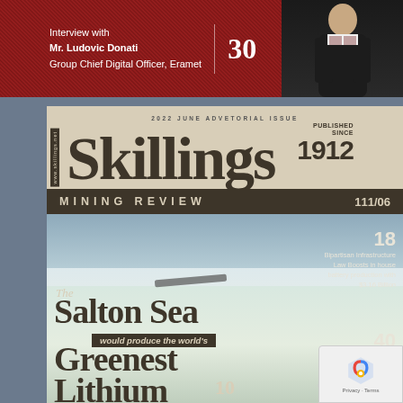[Figure (photo): Top red banner showing interview teaser with Mr. Ludovic Donati, Group Chief Digital Officer, Eramet, page 30, with a man in suit photo on right]
Interview with Mr. Ludovic Donati Group Chief Digital Officer, Eramet
30
[Figure (photo): Skillings Mining Review magazine cover - 2022 June Advetorial Issue, Published Since 1912, issue 111/06, featuring snowy Salton Sea landscape with text about the world's greenest lithium]
2022 JUNE ADVETORIAL ISSUE
Skillings
PUBLISHED SINCE 1912
MINING REVIEW
111/06
www.skillings.net
18
Bipartisan Infrastructure Law Boosts in house battery production with $3.16 Billion
The Salton Sea would produce the world's Greenest Lithium
40
Best Dividend Paying Mining Metal Stocks
We are finding zinc greater We dis com provide a annual yield of over 5%.
10